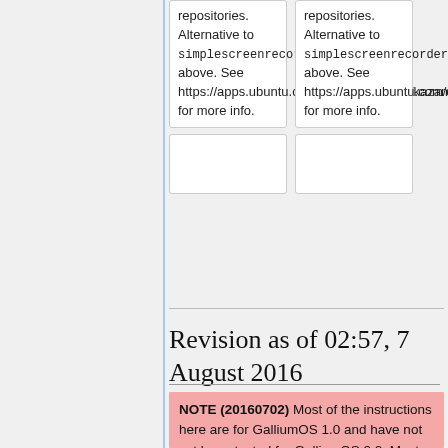repositories. Alternative to <code>simplescreenrecorder</code>, above. See https://apps.ubuntu.com/cat/applications/kazam/ for more info.
repositories. Alternative to <code>simplescreenrecorder</code>, above. See https://apps.ubuntu.com/cat/applications/kazam/ for more info.
Revision as of 02:57, 7 August 2016
NOTE (20160702) Most of the instructions here are for GalliumOS 1.0 and have not yet been tested for GalliumOS 2.0. Most will work without change, but some updates will probably be necessary. These will be updated as they are tested and...